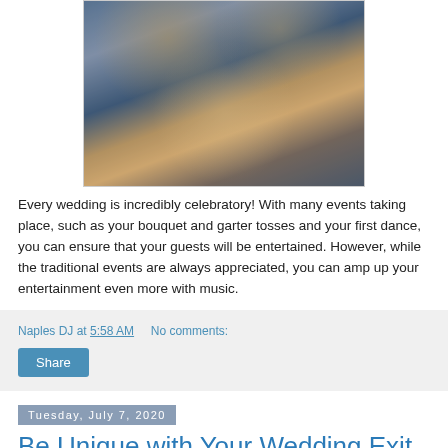[Figure (photo): Wedding couple embracing in the rain, bokeh lights in background]
Every wedding is incredibly celebratory! With many events taking place, such as your bouquet and garter tosses and your first dance, you can ensure that your guests will be entertained. However, while the traditional events are always appreciated, you can amp up your entertainment even more with music.
Naples DJ at 5:58 AM   No comments:
Share
Tuesday, July 7, 2020
Be Unique with Your Wedding Exit